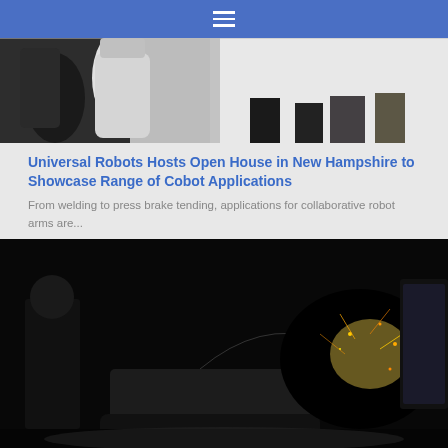[Figure (photo): Photo of industrial robots in a white lab/showroom setting with people standing nearby]
Universal Robots Hosts Open House in New Hampshire to Showcase Range of Cobot Applications
From welding to press brake tending, applications for collaborative robot arms are...
[Figure (photo): A tracked ground robot with robotic arm creating sparks in a dark environment, with a person in the background]
Sarcos Technology and Robotics Corp. Hones Robots, Exoskeletons With Humans in the Loop